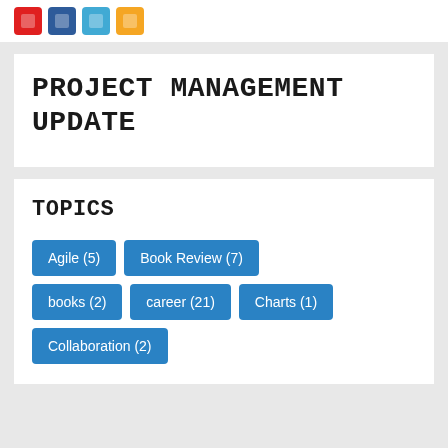[Figure (other): Social share icons row: red, dark blue, light blue, orange rounded square buttons]
PROJECT MANAGEMENT UPDATE
TOPICS
Agile (5)
Book Review (7)
books (2)
career (21)
Charts (1)
Collaboration (2)